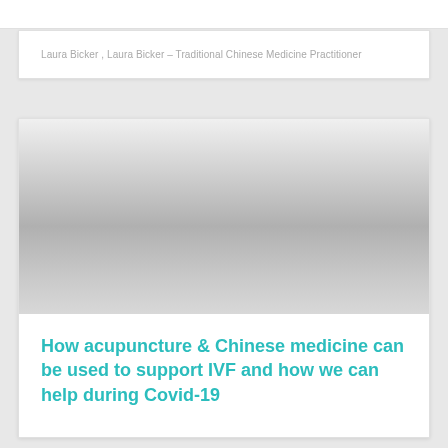Laura Bicker , Laura Bicker – Traditional Chinese Medicine Practitioner
[Figure (photo): A large image placeholder with a gradient from light gray at top to darker gray in the middle, fading back to lighter gray toward the bottom — representing a blurred or faded photograph.]
How acupuncture & Chinese medicine can be used to support IVF and how we can help during Covid-19